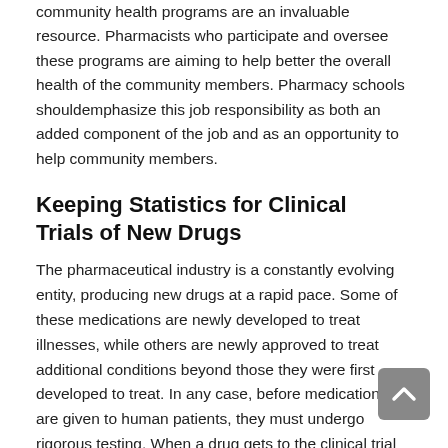community health programs are an invaluable resource. Pharmacists who participate and oversee these programs are aiming to help better the overall health of the community members. Pharmacy schools shouldemphasize this job responsibility as both an added component of the job and as an opportunity to help community members.
Keeping Statistics for Clinical Trials of New Drugs
The pharmaceutical industry is a constantly evolving entity, producing new drugs at a rapid pace. Some of these medications are newly developed to treat illnesses, while others are newly approved to treat additional conditions beyond those they were first developed to treat. In any case, before medications are given to human patients, they must undergo rigorous testing. When a drug gets to the clinical trial phase, many health-care providers become involved, including pharmacists.
In addition to being responsible for stocking new and